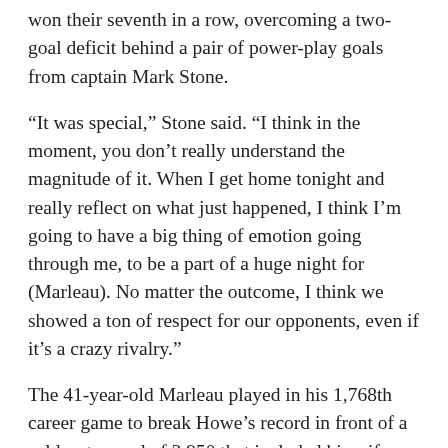won their seventh in a row, overcoming a two-goal deficit behind a pair of power-play goals from captain Mark Stone.
“It was special,” Stone said. “I think in the moment, you don’t really understand the magnitude of it. When I get home tonight and really reflect on what just happened, I think I’m going to have a big thing of emotion going through me, to be a part of a huge night for (Marleau). No matter the outcome, I think we showed a ton of respect for our opponents, even if it’s a crazy rivalry.”
The 41-year-old Marleau played in his 1,768th career game to break Howe’s record in front of a sold-out crowd of 3,950 that included his wife, Christina, and four sons. That wouldn’t have been possible in San Jose, where fans still aren’t allowed in the arena during the pandemic.
“Just extremely grateful for everything and all the support everyone has given me throughout my career, especially tonight,” Marleau said. “I don’t know how many phone calls or texts I got. It might take me a week to reply to everybody